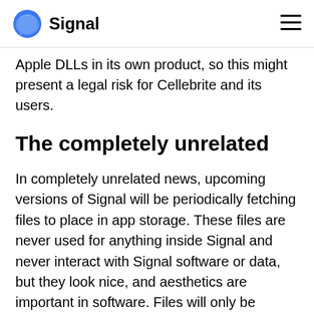Signal
Apple DLLs in its own product, so this might present a legal risk for Cellebrite and its users.
The completely unrelated
In completely unrelated news, upcoming versions of Signal will be periodically fetching files to place in app storage. These files are never used for anything inside Signal and never interact with Signal software or data, but they look nice, and aesthetics are important in software. Files will only be returned for accounts that have been active installs for some time already, and only probabilistically in low percentages based on phone number sharding. We have a few different versions of files that we think are aesthetically pleasing, and will iterate through these slowly over time. There is no other significance